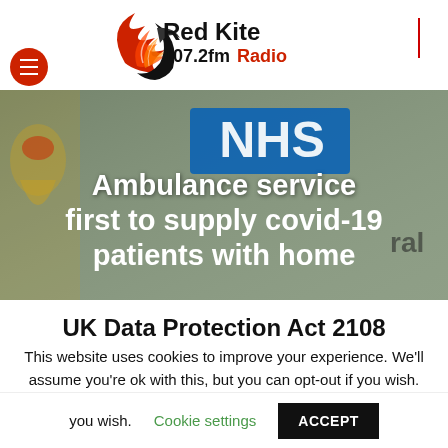[Figure (logo): Red Kite 107.2fm Radio logo with stylized red kite bird in red and black]
[Figure (photo): NHS ambulance service hero image with crest on left, NHS blue badge, text overlay reading 'Ambulance service first to supply covid-19 patients with home']
UK Data Protection Act 2108
This website uses cookies to improve your experience. We'll assume you're ok with this, but you can opt-out if you wish.
Cookie settings
ACCEPT